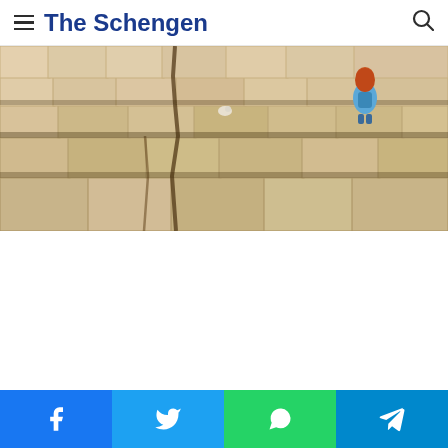The Schengen
[Figure (photo): Aerial/top-down view of ancient stone ruins with large rectangular stone blocks and steps. A person with red hair wearing a blue jacket sits among the ruins in the upper-right area.]
Share buttons: Facebook, Twitter, WhatsApp, Telegram